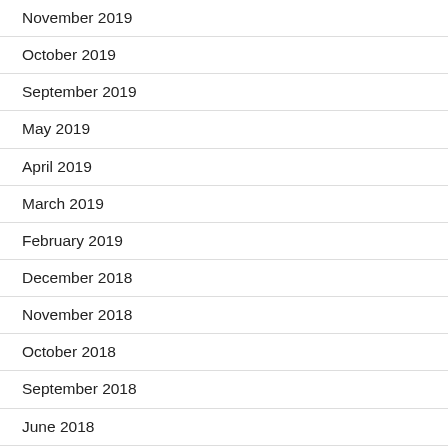November 2019
October 2019
September 2019
May 2019
April 2019
March 2019
February 2019
December 2018
November 2018
October 2018
September 2018
June 2018
May 2018
April 2018